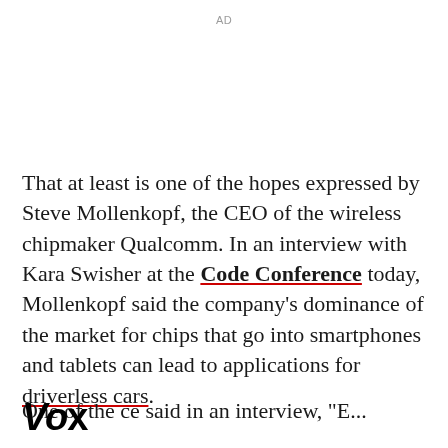AD
That at least is one of the hopes expressed by Steve Mollenkopf, the CEO of the wireless chipmaker Qualcomm. In an interview with Kara Swisher at the Code Conference today, Mollenkopf said the company's dominance of the market for chips that go into smartphones and tablets can lead to applications for driverless cars.
One of the...
Vox